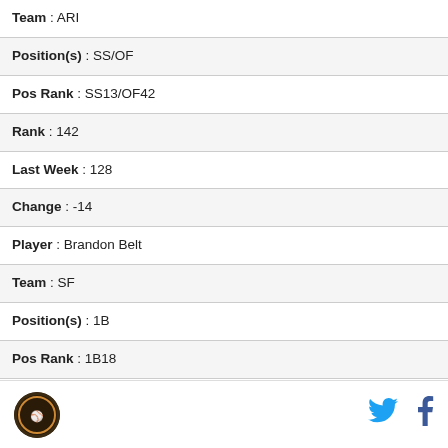Team : ARI
Position(s) : SS/OF
Pos Rank : SS13/OF42
Rank : 142
Last Week : 128
Change : -14
Player : Brandon Belt
Team : SF
Position(s) : 1B
Pos Rank : 1B18